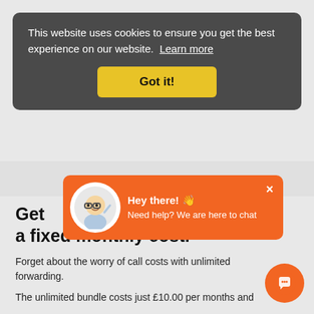This website uses cookies to ensure you get the best experience on our website. Learn more
Got it!
[Figure (infographic): Chat popup with cartoon professor avatar. Orange background. Text: Hey there! 👋 Need help? We are here to chat. Close button (×) in top right.]
Get [partially obscured] for a fixed monthly cost.
Forget about the worry of call costs with unlimited [partially obscured] forwarding.
The unlimited bundle costs just £10.00 per months and [text cut off]
[Figure (illustration): Orange circular FAB button with chat icon (white speech bubble with dots) in bottom right corner.]